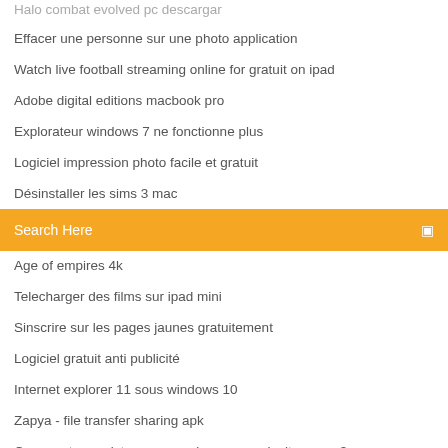Halo combat evolved pc descargar
Effacer une personne sur une photo application
Watch live football streaming online for gratuit on ipad
Adobe digital editions macbook pro
Explorateur windows 7 ne fonctionne plus
Logiciel impression photo facile et gratuit
Désinstaller les sims 3 mac
Search Here
Age of empires 4k
Telecharger des films sur ipad mini
Sinscrire sur les pages jaunes gratuitement
Logiciel gratuit anti publicité
Internet explorer 11 sous windows 10
Zapya - file transfer sharing apk
Comment enregistrer une musique sur audacity en mp3
Magical jelly bean keyfinder v2.0.10.13
Télécharger five nights at freddys gratuit apk
Télécharger daemon tool for windows 10 64 bit